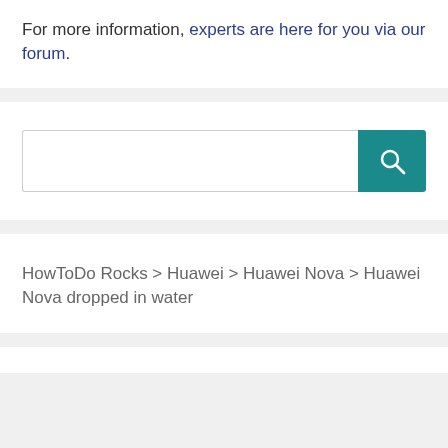For more information, experts are here for you via our forum.
[Figure (screenshot): Search bar with teal search button containing a magnifying glass icon]
HowToDo Rocks > Huawei > Huawei Nova > Huawei Nova dropped in water